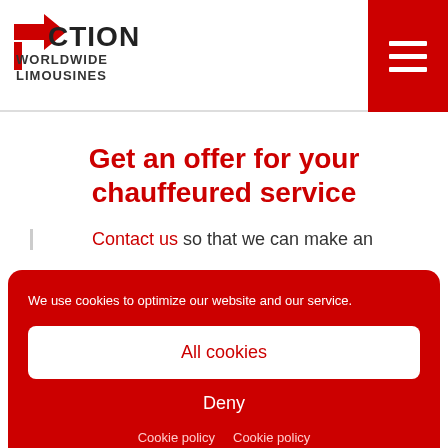[Figure (logo): Action Worldwide Limousines logo with red flag icon and dark text]
Get an offer for your chauffeured service
Contact us so that we can make an
We use cookies to optimize our website and our service.
All cookies
Deny
Cookie policy  Cookie policy